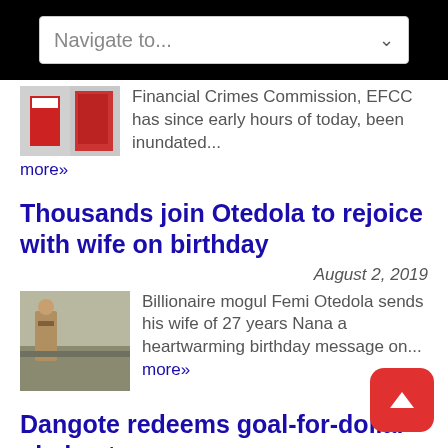Navigate to...
Financial Crimes Commission, EFCC has since early hours of today, been inundated...
more»
Thousands join Otedola to rejoice with wife on birthday
August 2, 2019
Billionaire mogul Femi Otedola sends his wife of 27 years Nana a heartwarming birthday message on... more»
Dangote redeems goal-for-dollar pledge to